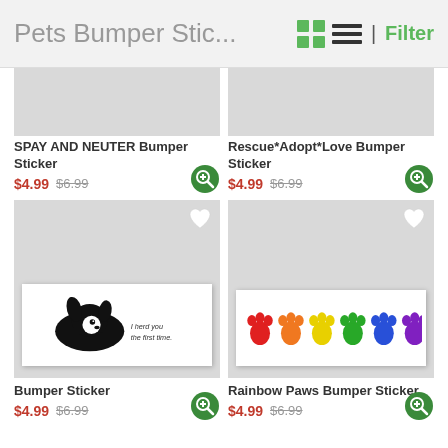Pets Bumper Stic... | Filter
[Figure (screenshot): Partial product image for SPAY AND NEUTER Bumper Sticker (cropped, gray background)]
[Figure (screenshot): Partial product image for Rescue*Adopt*Love Bumper Sticker (cropped, gray background)]
SPAY AND NEUTER Bumper Sticker
$4.99 $6.99
Rescue*Adopt*Love Bumper Sticker
$4.99 $6.99
[Figure (photo): Bumper sticker showing a Border Collie dog with text 'I herd you the first time.']
[Figure (photo): Rainbow Paws bumper sticker showing six colorful paw prints in red, orange, yellow, green, blue, purple]
Bumper Sticker
$4.99 $6.99
Rainbow Paws Bumper Sticker
$4.99 $6.99